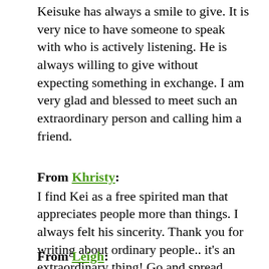Keisuke has always a smile to give. It is very nice to have someone to speak with who is actively listening. He is always willing to give without expecting something in exchange. I am very glad and blessed to meet such an extraordinary person and calling him a friend.
From Khristy: I find Kei as a free spirited man that appreciates people more than things. I always felt his sincerity. Thank you for writing about ordinary people.. it's an extraordinary thing! Go and spread kindness to the world. Good luck in everything you do!
From Leigh: